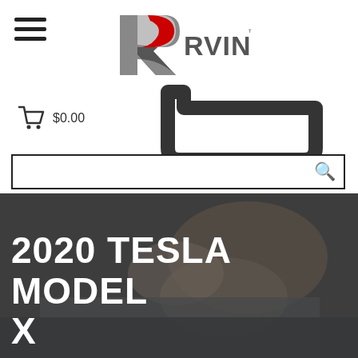[Figure (logo): Rvinyl logo with stylized R in red and grey, text RVINYL with TM mark]
[Figure (illustration): Hamburger menu icon (three horizontal lines)]
[Figure (illustration): Shopping cart icon with $0.00 text and large blurred shopping cart in background]
[Figure (illustration): Search bar with magnifying glass icon]
[Figure (photo): Person applying vinyl wrap to a car surface, dark overlay]
2020 TESLA MODEL X